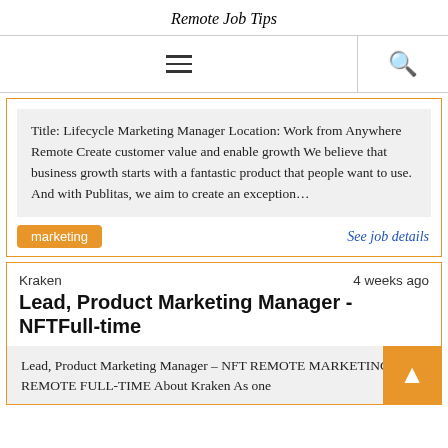Remote Job Tips
[Figure (other): Navigation bar with hamburger menu icon and search icon]
Title: Lifecycle Marketing Manager Location: Work from Anywhere Remote Create customer value and enable growth We believe that business growth starts with a fantastic product that people want to use. And with Publitas, we aim to create an exception…
marketing
See job details
Kraken   4 weeks ago
Lead, Product Marketing Manager - NFTFull-time
Lead, Product Marketing Manager – NFT REMOTE MARKETING REMOTE FULL-TIME About Kraken As one